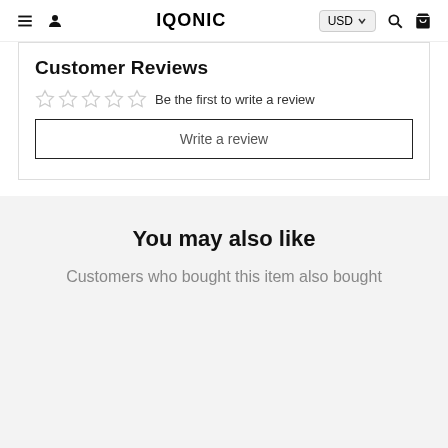IQONIC — USD — navigation bar
Customer Reviews
☆☆☆☆☆ Be the first to write a review
Write a review
You may also like
Customers who bought this item also bought